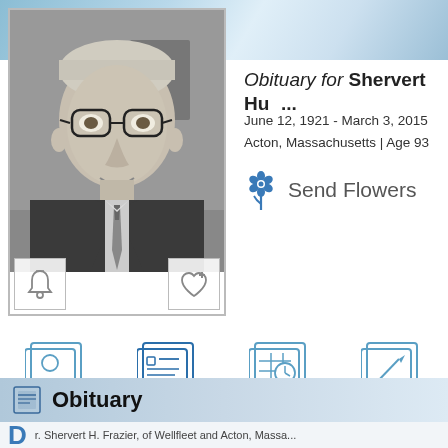[Figure (photo): Black and white portrait photo of elderly man with glasses, wearing a suit and tie, smiling. Bell icon in bottom-left corner, heart+ icon in bottom-right corner of the photo frame.]
Obituary for Shervert Hu...
June 12, 1921 - March 3, 2015
Acton, Massachusetts | Age 93
Send Flowers
[Figure (infographic): Navigation row with four icons: Portrait, Obituary (bold/selected), Services, Guestbook — each with a blue outline document icon above the label.]
Obituary
r. Shervert H. Frazier, of Wellfleet and Acton, Massa...